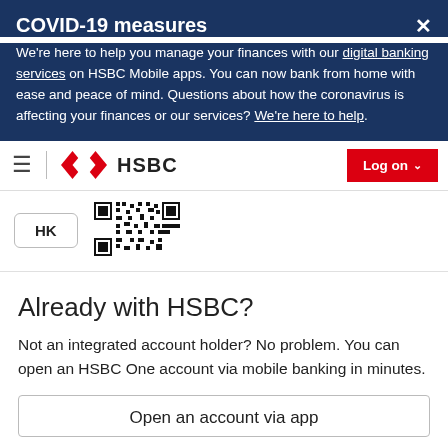COVID-19 measures
We're here to help you manage your finances with our digital banking services on HSBC Mobile apps. You can now bank from home with ease and peace of mind. Questions about how the coronavirus is affecting your finances or our services? We're here to help.
[Figure (logo): HSBC logo with hamburger menu and Log on button]
[Figure (other): HK country selector box and QR code]
Already with HSBC?
Not an integrated account holder? No problem. You can open an HSBC One account via mobile banking in minutes.
Open an account via app